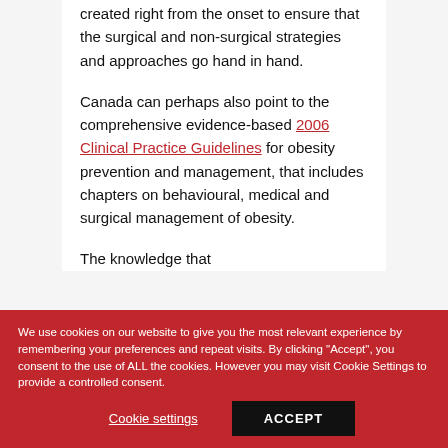created right from the onset to ensure that the surgical and non-surgical strategies and approaches go hand in hand.
Canada can perhaps also point to the comprehensive evidence-based 2006 Clinical Practice Guidelines for obesity prevention and management, that includes chapters on behavioural, medical and surgical management of obesity.
The knowledge that...
We use cookies on our website to give you the most relevant experience by remembering your preferences and repeat visits. By clicking "Accept", you consent to the use of ALL the cookies. However you may visit Cookie Settings to provide a controlled consent.